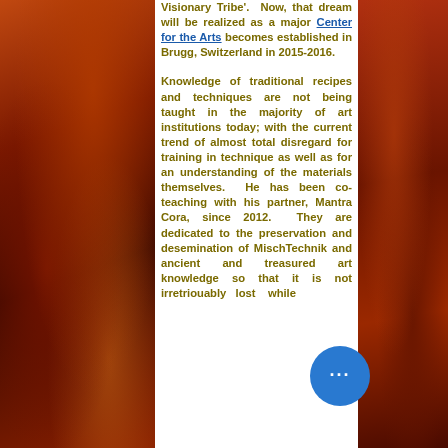[Figure (photo): Left side decorative artwork — dark reddish-orange abstract painting with swirling forms]
Visionary Tribe'.  Now, that dream will be realized as a major Center for the Arts becomes established in Brugg, Switzerland in 2015-2016.

Knowledge of traditional recipes and techniques are not being taught in the majority of art institutions today; with the current trend of almost total disregard for training in technique as well as for an understanding of the materials themselves.  He has been co-teaching with his partner, Mantra Cora, since 2012.  They are dedicated to the preservation and desemination of MischTechnik and ancient and treasured art knowledge so that it is not irretriouably lost while
[Figure (photo): Right side decorative artwork — dark reddish abstract painting with fiery tones and architectural elements]